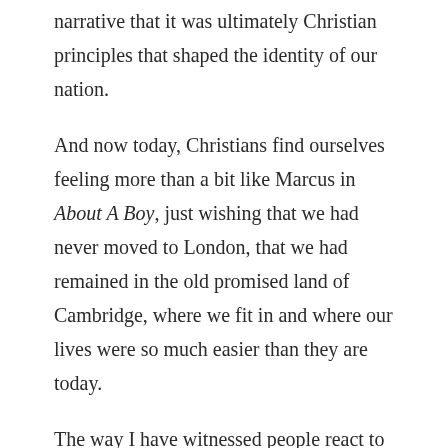narrative that it was ultimately Christian principles that shaped the identity of our nation.
And now today, Christians find ourselves feeling more than a bit like Marcus in About A Boy, just wishing that we had never moved to London, that we had remained in the old promised land of Cambridge, where we fit in and where our lives were so much easier than they are today.
The way I have witnessed people react to this new landscape in our land has been by emoting great fear, great grief, and great